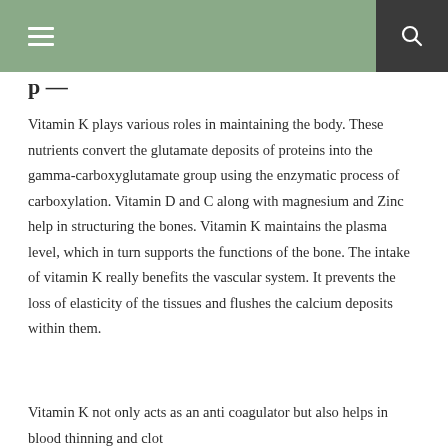navigation bar with menu and search icons
Vitamin K plays various roles in maintaining the body. These nutrients convert the glutamate deposits of proteins into the gamma-carboxyglutamate group using the enzymatic process of carboxylation. Vitamin D and C along with magnesium and Zinc help in structuring the bones. Vitamin K maintains the plasma level, which in turn supports the functions of the bone. The intake of vitamin K really benefits the vascular system. It prevents the loss of elasticity of the tissues and flushes the calcium deposits within them.
Vitamin K not only acts as an anti coagulator but also helps in blood thinning and clot